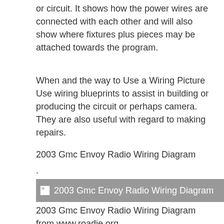or circuit. It shows how the power wires are connected with each other and will also show where fixtures plus pieces may be attached towards the program.
When and the way to Use a Wiring Picture Use wiring blueprints to assist in building or producing the circuit or perhaps camera. They are also useful with regard to making repairs.
2003 Gmc Envoy Radio Wiring Diagram
.
[Figure (other): Broken image placeholder for 2003 Gmc Envoy Radio Wiring Diagram with gray background]
2003 Gmc Envoy Radio Wiring Diagram from www.roadie.org